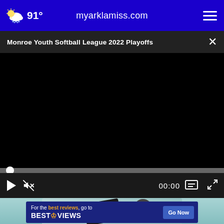91° myarklamiss.com
Monroe Youth Softball League 2022 Playoffs
[Figure (screenshot): Black video player area — paused, no content visible]
00:00
[Figure (photo): Partial view of a person holding a credit card, teal background]
[Figure (infographic): BestReviews advertisement banner: 'For the best reviews, go to BESTREVIEWS — Go Now button']